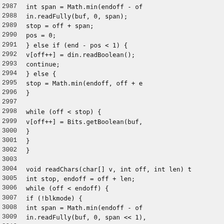Source code listing, lines 2987-3016, Java code with line numbers. Methods for reading booleans and chars from a stream with block mode handling.